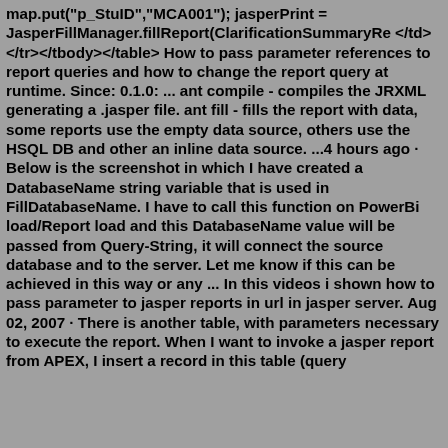map.put("p_StuID","MCA001"); jasperPrint = JasperFillManager.fillReport(ClarificationSummaryRe </td></tr></tbody></table> How to pass parameter references to report queries and how to change the report query at runtime. Since: 0.1.0: ... ant compile - compiles the JRXML generating a .jasper file. ant fill - fills the report with data, some reports use the empty data source, others use the HSQL DB and other an inline data source. ...4 hours ago · Below is the screenshot in which I have created a DatabaseName string variable that is used in FillDatabaseName. I have to call this function on PowerBi load/Report load and this DatabaseName value will be passed from Query-String, it will connect the source database and to the server. Let me know if this can be achieved in this way or any ... In this videos i shown how to pass parameter to jasper reports in url in jasper server. Aug 02, 2007 · There is another table, with parameters necessary to execute the report. When I want to invoke a jasper report from APEX, I insert a record in this table (query